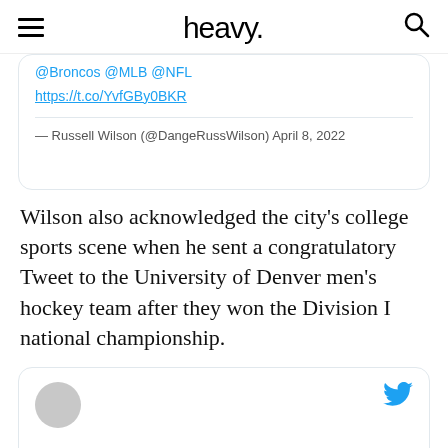heavy.
[Figure (screenshot): Partial tweet embed showing @Broncos @MLB @NFL links, https://t.co/YvfGBy0BKR, and attribution '— Russell Wilson (@DangeRussWilson) April 8, 2022']
Wilson also acknowledged the city's college sports scene when he sent a congratulatory Tweet to the University of Denver men's hockey team after they won the Division I national championship.
[Figure (screenshot): Partial tweet embed showing avatar circle, Twitter bird icon, close (X) button, and tweet text 'Wow. Denver Sports 🏒🏒🏒']